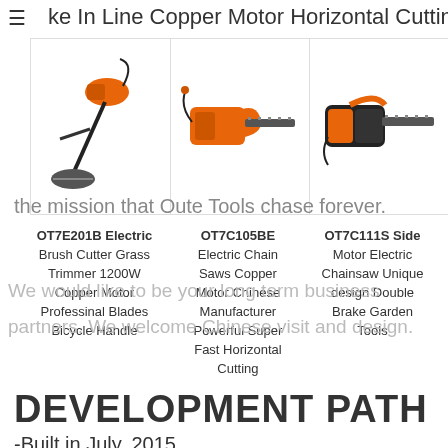ke In Line Copper Motor Horizontal Cutting
[Figure (photo): Three power tools: electric grass trimmer/brush cutter, electric chainsaw (orange), and another electric chainsaw (orange/black)]
the mission that Oute Tools chase forever.
| OT7E201B Electric | OT7C105BE | OT7C111S Side |
| --- | --- | --- |
| Brush Cutter Grass | Electric Chain | Motor Electric |
| Trimmer 1200W | Saws Copper | Chainsaw Unique |
| Copper Motor | Motor Chinese | design Double |
| Professinal Blades | Manufacturer | Brake Garden |
| Bicycle Handle | Powerful Super | Tools |
|  | Fast Horizontal |  |
|  | Cutting |  |
We would like to be your long term business partners. We welcome Chinese visit and design.
DEVELOPMENT PATH
-Built in July, 2015